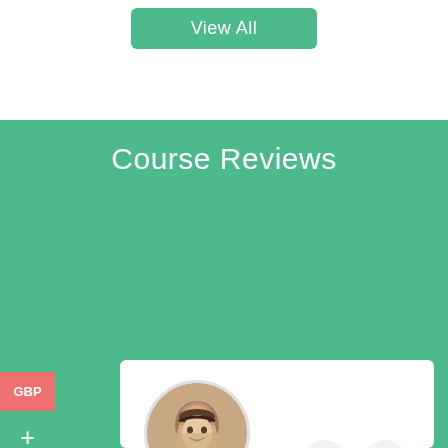[Figure (screenshot): Green 'View All' button at top center of page]
Course Reviews
GBP
+
[Figure (photo): Circular profile photo of Yasmin Coles, a woman with long dark wavy hair smiling]
Yasmin Coles
Student
Very good customer service. A guy named Mike resolved my